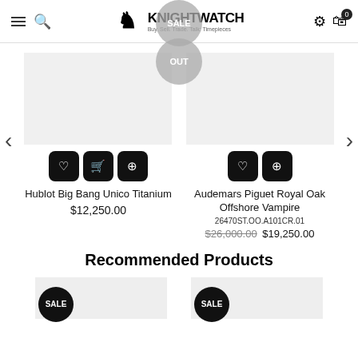KNIGHTWATCH — Buy. Sell. Trade. Talk. Timepieces
[Figure (screenshot): Product card for Hublot Big Bang Unico Titanium with action buttons (heart, cart, zoom)]
Hublot Big Bang Unico Titanium
$12,250.00
[Figure (screenshot): Product card for Audemars Piguet Royal Oak Offshore Vampire with SALE badge, action buttons (heart, zoom)]
Audemars Piguet Royal Oak Offshore Vampire
26470ST.OO.A101CR.01
$26,000.00 $19,250.00
Recommended Products